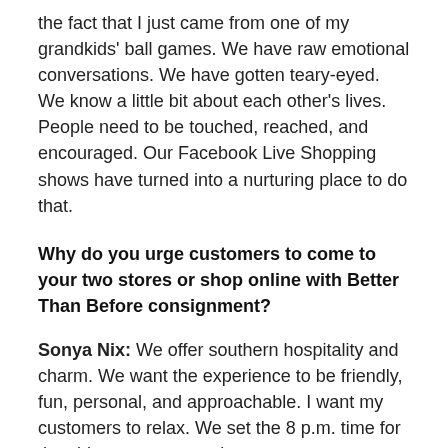the fact that I just came from one of my grandkids' ball games. We have raw emotional conversations. We have gotten teary-eyed. We know a little bit about each other's lives. People need to be touched, reached, and encouraged. Our Facebook Live Shopping shows have turned into a nurturing place to do that.
Why do you urge customers to come to your two stores or shop online with Better Than Before consignment?
Sonya Nix: We offer southern hospitality and charm. We want the experience to be friendly, fun, personal, and approachable. I want my customers to relax. We set the 8 p.m. time for the videos on purpose because our customers are done with dinner, homework, and the kids' baths and are in sit-down mode. Either most of the important stuff is done or you are too tired to do them. People can stop to take a breather and enjoy themselves. I want to become a habit in the lives of my customers. Someone will say, 'I couldn't make it to the 2